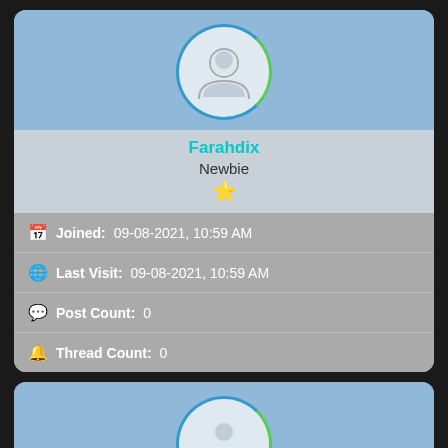[Figure (illustration): User profile avatar for Farahdix — circular avatar with person silhouette, blue/green border ring]
Farahdix
Newbie
⭐
Joined: 09-08-2021, 10:59 AM
Last Visit: 09-08-2021, 10:59 AM
Post Count: 0
Thread Count: 0
[Figure (illustration): User profile avatar for Frankieinged — circular avatar with person silhouette, blue/green border ring]
Frankieinged
Account not Activated